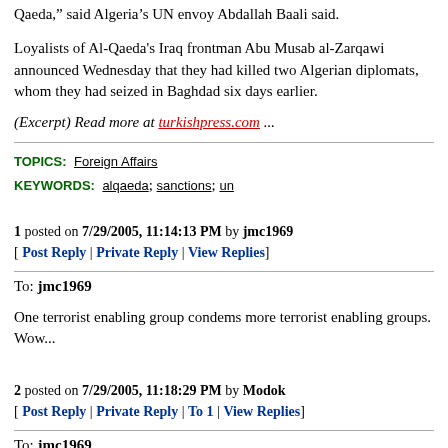Qaeda," said Algeria's UN envoy Abdallah Baali said.
Loyalists of Al-Qaeda's Iraq frontman Abu Musab al-Zarqawi announced Wednesday that they had killed two Algerian diplomats, whom they had seized in Baghdad six days earlier.
(Excerpt) Read more at turkishpress.com ...
TOPICS: Foreign Affairs
KEYWORDS: alqaeda; sanctions; un
1 posted on 7/29/2005, 11:14:13 PM by jmc1969
[ Post Reply | Private Reply | View Replies]
To: jmc1969
One terrorist enabling group condems more terrorist enabling groups. Wow...
2 posted on 7/29/2005, 11:18:29 PM by Modok
[ Post Reply | Private Reply | To 1 | View Replies]
To: jmc1969